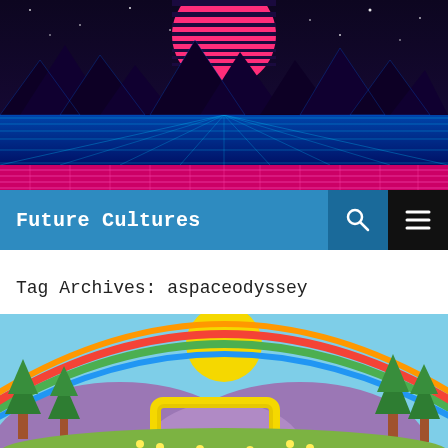[Figure (illustration): Retro synthwave hero banner with dark purple starry background, pink striped sun, blue grid mountains silhouettes, and magenta/pink foreground grid]
Future Cultures
Tag Archives: aspaceodyssey
[Figure (illustration): Colorful cartoon illustration with purple mountains, rainbow arcs, yellow sun, green pine trees, flowers, and a yellow rectangular frame/portal in a happy landscape style]